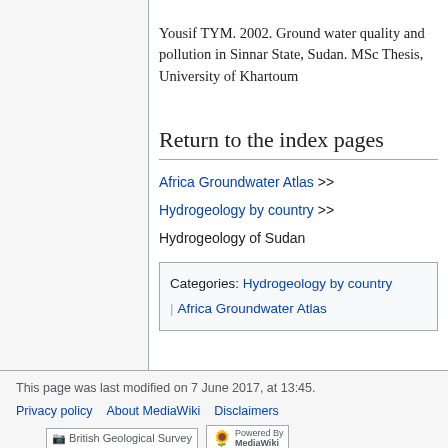Yousif TYM. 2002. Ground water quality and pollution in Sinnar State, Sudan. MSc Thesis, University of Khartoum
Return to the index pages
Africa Groundwater Atlas >> Hydrogeology by country >> Hydrogeology of Sudan
Categories: Hydrogeology by country | Africa Groundwater Atlas
This page was last modified on 7 June 2017, at 13:45.
Privacy policy   About MediaWiki   Disclaimers